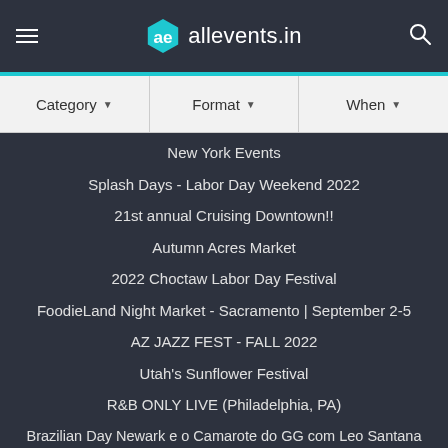allevents.in
Category | Format | When
New York Events
Splash Days - Labor Day Weekend 2022
21st annual Cruising Downtown!!
Autumn Acres Market
2022 Choctaw Labor Day Festival
FoodieLand Night Market - Sacramento | September 2-5
AZ JAZZ FEST - FALL 2022
Utah's Sunflower Festival
R&B ONLY LIVE (Philadelphia, PA)
Brazilian Day Newark e o Camarote do GG com Leo Santana